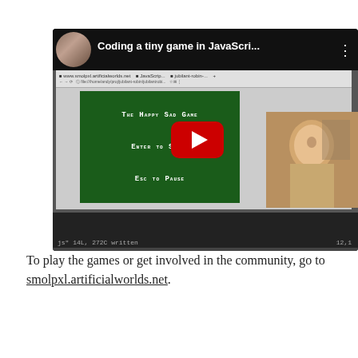[Figure (screenshot): YouTube video thumbnail showing a coding tutorial titled 'Coding a tiny game in JavaScri...' with a game screen displaying 'The Happy Sad Game', 'Enter to Start', 'Esc to Pause' on a green background, a YouTube play button overlay, a person in a webcam insert, and a code editor at the bottom showing 'js" 14L, 272C written' and '12,1']
To play the games or get involved in the community, go to smolpxl.artificialworlds.net.